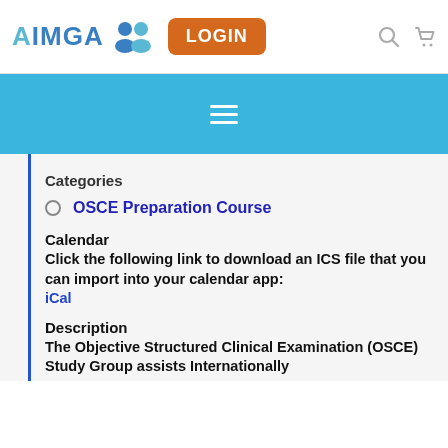AIMGA LOGIN
Categories
OSCE Preparation Course
Calendar
Click the following link to download an ICS file that you can import into your calendar app: iCal
Description
The Objective Structured Clinical Examination (OSCE) Study Group assists Internationally